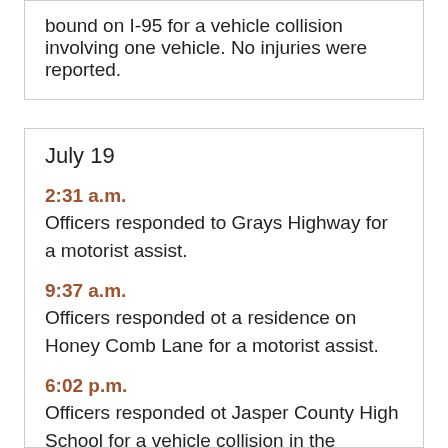bound on I-95 for a vehicle collision involving one vehicle. No injuries were reported.
July 19
2:31 a.m.
Officers responded to Grays Highway for a motorist assist.
9:37 a.m.
Officers responded ot a residence on Honey Comb Lane for a motorist assist.
6:02 p.m.
Officers responded ot Jasper County High School for a vehicle collision in the parking lot involving one vehicle. No injuries were reported.